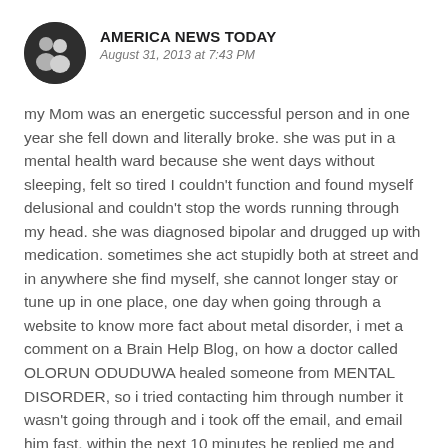AMERICA NEWS TODAY
August 31, 2013 at 7:43 PM
my Mom was an energetic successful person and in one year she fell down and literally broke. she was put in a mental health ward because she went days without sleeping, felt so tired I couldn't function and found myself delusional and couldn't stop the words running through my head. she was diagnosed bipolar and drugged up with medication. sometimes she act stupidly both at street and in anywhere she find myself, she cannot longer stay or tune up in one place, one day when going through a website to know more fact about metal disorder, i met a comment on a Brain Help Blog, on how a doctor called OLORUN ODUDUWA healed someone from MENTAL DISORDER, so i tried contacting him through number it wasn't going through and i took off the email, and email him fast, within the next 10 minutes he replied me and started